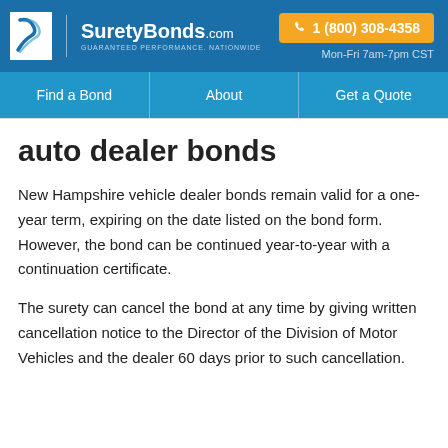[Figure (logo): SuretyBonds.com logo with white S-curve icon, white company name text, and tagline 'GUARANTEED PERFORMANCE. NATIONWIDE' on blue background. Orange phone button '1 (800) 308-4358' top right. Hours 'Mon-Fri 7am-7pm CST' below.]
Find a Bond | About | Get a Quote
auto dealer bonds
New Hampshire vehicle dealer bonds remain valid for a one-year term, expiring on the date listed on the bond form. However, the bond can be continued year-to-year with a continuation certificate.
The surety can cancel the bond at any time by giving written cancellation notice to the Director of the Division of Motor Vehicles and the dealer 60 days prior to such cancellation.